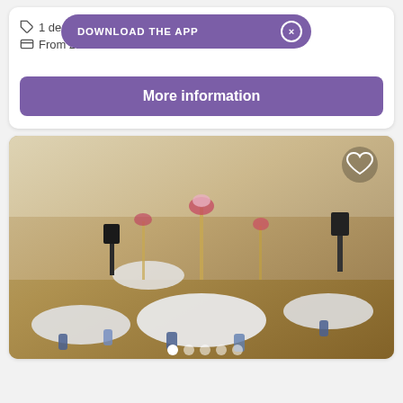1 deal
DOWNLOAD THE APP  ×
From £1.99
More information
[Figure (photo): Wedding reception banquet hall with round tables set with white tablecloths and blue/navy satin chair sashes, tall floral candelabra centerpieces, wooden floor, speakers on stands, and a heart favorite icon overlay in the top-right corner. Carousel dots at the bottom show 5 images with the first selected.]